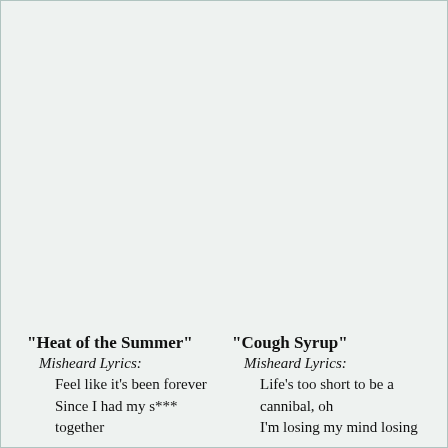"Heat of the Summer"
  Misheard Lyrics:
    Feel like it's been forever
    Since I had my s***
    together
"Cough Syrup"
  Misheard Lyrics:
    Life's too short to be a
    cannibal, oh
    I'm losing my mind losing